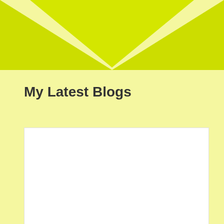[Figure (illustration): Yellow-green chevron/arrow shape pointing downward at the top of the page on a light yellow background]
My Latest Blogs
[Figure (other): White rectangular content placeholder box]